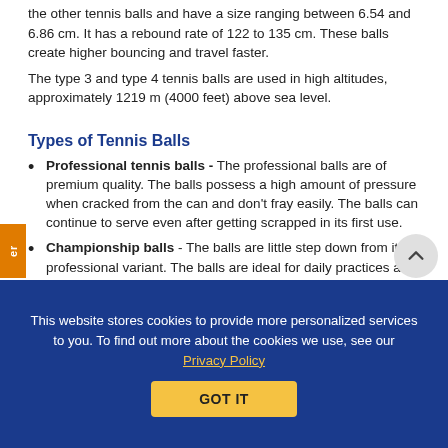the other tennis balls and have a size ranging between 6.54 and 6.86 cm. It has a rebound rate of 122 to 135 cm. These balls create higher bouncing and travel faster.
The type 3 and type 4 tennis balls are used in high altitudes, approximately 1219 m (4000 feet) above sea level.
Types of Tennis Balls
Professional tennis balls - The professional balls are of premium quality. The balls possess a high amount of pressure when cracked from the can and don't fray easily. The balls can continue to serve even after getting scrapped in its first use.
Championship balls - The balls are little step down from its professional variant. The balls are ideal for daily practices and in junior tournaments because of their durability and better quality.
Practice balls - The balls are ideal for practice matc...
These are ideal to use in the ball machines and loading...lifespan and are eco...per.
Evolution of Tennis Balls
This website stores cookies to provide more personalized services to you. To find out more about the cookies we use, see our Privacy Policy